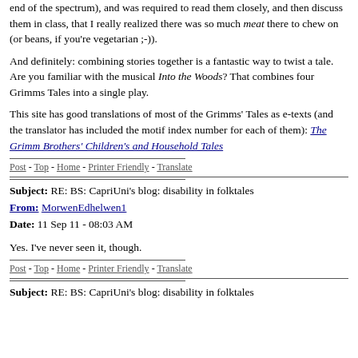end of the spectrum), and was required to read them closely, and then discuss them in class, that I really realized there was so much meat there to chew on (or beans, if you're vegetarian ;-)).
And definitely: combining stories together is a fantastic way to twist a tale. Are you familiar with the musical Into the Woods? That combines four Grimms Tales into a single play.
This site has good translations of most of the Grimms' Tales as e-texts (and the translator has included the motif index number for each of them): The Grimm Brothers' Children's and Household Tales
Post - Top - Home - Printer Friendly - Translate
Subject: RE: BS: CapriUni's blog: disability in folktales
From: MorwenEdhelwen1
Date: 11 Sep 11 - 08:03 AM
Yes. I've never seen it, though.
Post - Top - Home - Printer Friendly - Translate
Subject: RE: BS: CapriUni's blog: disability in folktales